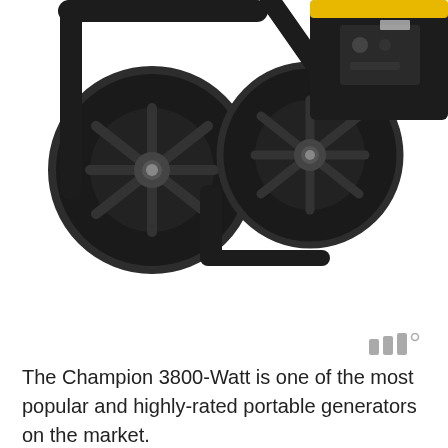[Figure (photo): Bottom portion of a Champion 3800-Watt portable generator showing two large black pneumatic wheels with black spoke rims, a black steel frame/handle bar, and part of the generator body with yellow accents and a control panel visible at the top right. The background is white.]
[Figure (logo): Small logo consisting of three short vertical bars/rectangles in gray, resembling a stylized 'W' or signal bars, followed by a superscript degree symbol. Appears to be a watermark or attribution logo.]
The Champion 3800-Watt is one of the most popular and highly-rated portable generators on the market.